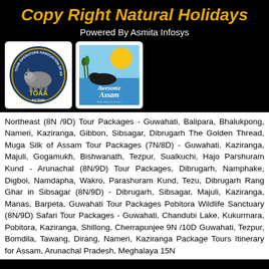Copy Right Natural Holidays
Powered By Asmita Infosys
[Figure (logo): TOAA (Tour Operators Association of Assam) logo with rhino and 'ACTIVE' text]
[Figure (logo): Awesome Assam Department of Tourism logo with hippo silhouette and sun]
Northeast (8N /9D) Tour Packages - Guwahati, Balipara, Bhalukpong, Nameri, Kaziranga, Gibbon, Sibsagar, Dibrugarh The Golden Thread, Muga Silk of Assam Tour Packages (7N/8D) - Guwahati, Kaziranga, Majuli, Gogamukh, Bishwanath, Tezpur, Sualkuchi, Hajo Parshuram Kund - Arunachal (8N/9D) Tour Packages, Dibrugarh, Namphake, Digboi, Namdapha, Wakro, Parashuram Kund, Tezu, Dibrugarh Rang Ghar in Sibsagar (8N/9D) - Dibrugarh, Sibsagar, Majuli, Kaziranga, Manas, Barpeta, Guwahati Tour Packages Pobitora Wildlife Sanctuary (8N/9D) Safari Tour Packages - Guwahati, Chandubi Lake, Kukurmara, Pobitora, Kaziranga, Shillong, Cherrapunjee 9N /10D Guwahati, Tezpur, Bomdila, Tawang, Dirang, Nameri, Kaziranga Package Tours Itinerary for Assam, Arunachal Pradesh, Meghalaya 15N